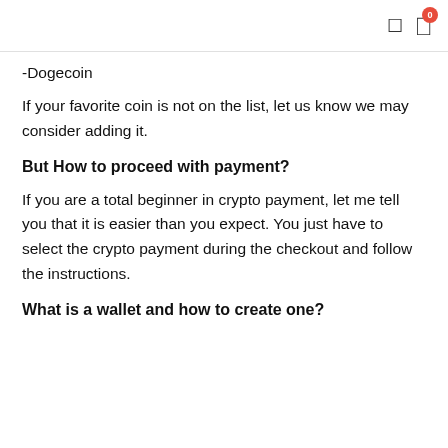-Dogecoin
If your favorite coin is not on the list, let us know we may consider adding it.
But How to proceed with payment?
If you are a total beginner in crypto payment, let me tell you that it is easier than you expect. You just have to select the crypto payment during the checkout and follow the instructions.
What is a wallet and how to create one?